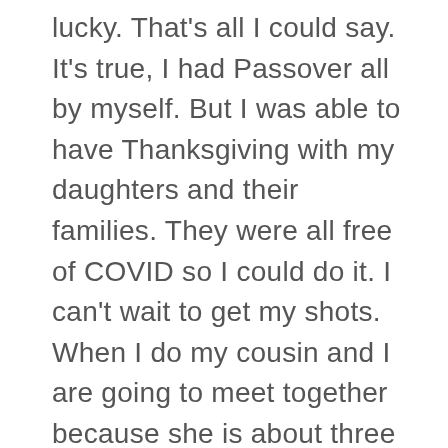lucky. That's all I could say. It's true, I had Passover all by myself. But I was able to have Thanksgiving with my daughters and their families. They were all free of COVID so I could do it. I can't wait to get my shots. When I do my cousin and I are going to meet together because she is about three weeks ahead of me and we haven't seen each other in a while. I don't think I'll go back to indoor swimming. I just don't think it's safe still. I'm not happy about it. It's a risk I don't need to take. I'll just keep walking outside. I walk a